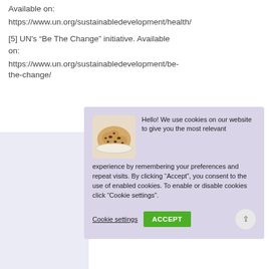Available on:
https://www.un.org/sustainabledevelopment/health/
[5] UN's “Be The Change” initiative. Available on:
https://www.un.org/sustainabledevelopment/be-the-change/
[Figure (screenshot): Cookie consent banner with cookie image, text about cookie usage, 'Cookie settings' link, 'ACCEPT' green button, and an up-arrow circle button.]